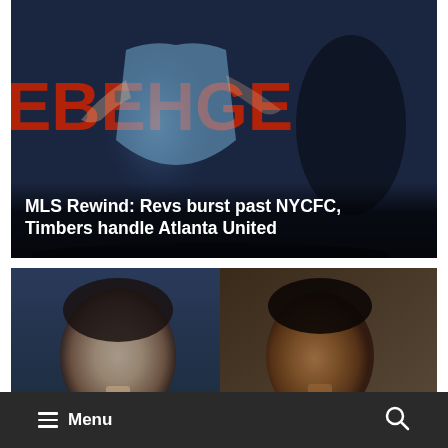[Figure (photo): Soccer player in light blue NYCFC jersey with ETIHAD AIRWAYS sponsor dribbling against a defender in dark jersey, red banner text in background]
MLS Rewind: Revs burst past NYCFC, Timbers handle Atlanta United
[Figure (photo): Split image showing two soccer players' faces: left player in blue Inter jersey, right player in white Real Madrid jersey]
≡ Menu   🔍